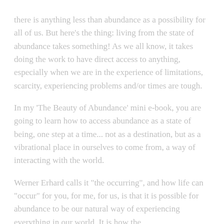there is anything less than abundance as a possibility for all of us. But here's the thing: living from the state of abundance takes something! As we all know, it takes doing the work to have direct access to anything, especially when we are in the experience of limitations, scarcity, experiencing problems and/or times are tough.
In my 'The Beauty of Abundance' mini e-book, you are going to learn how to access abundance as a state of being, one step at a time... not as a destination, but as a vibrational place in ourselves to come from, a way of interacting with the world.
Werner Erhard calls it "the occurring", and how life can "occur" for you, for me, for us, is that it is possible for abundance to be our natural way of experiencing everything in our world. It is how the